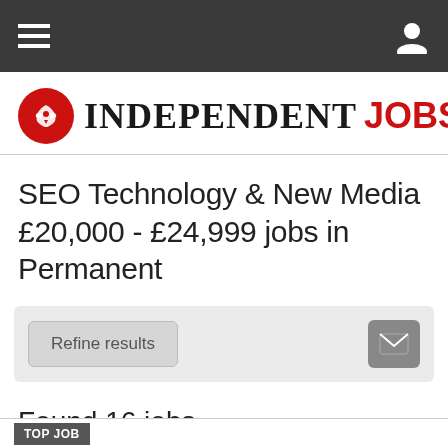Navigation bar with menu and user icons
[Figure (logo): Independent Jobs logo — red circle with eagle icon, 'INDEPENDENT' in black serif, 'JOBS' in red sans-serif]
SEO Technology & New Media £20,000 - £24,999 jobs in Permanent
Refine results [button] [email/envelope icon button]
Found 16 jobs
TOP JOB